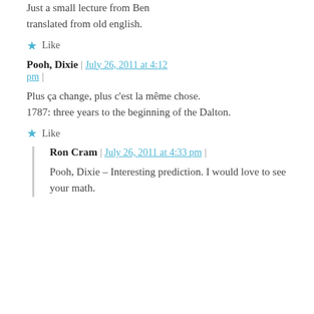Just a small lecture from Ben translated from old english.
Like
Pooh, Dixie | July 26, 2011 at 4:12 pm |
Plus ça change, plus c'est la même chose.
1787: three years to the beginning of the Dalton.
Like
Ron Cram | July 26, 2011 at 4:33 pm |
Pooh, Dixie – Interesting prediction. I would love to see your math.